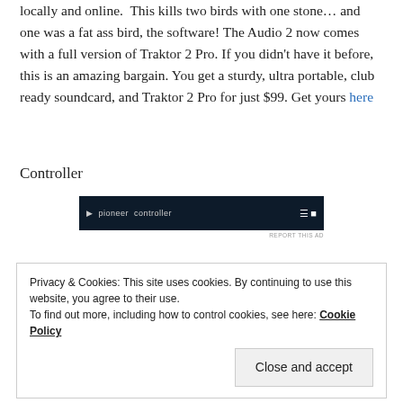but you can score one for $99 from tons of retailers locally and online.  This kills two birds with one stone… and one was a fat ass bird, the software! The Audio 2 now comes with a full version of Traktor 2 Pro. If you didn't have it before, this is an amazing bargain. You get a sturdy, ultra portable, club ready soundcard, and Traktor 2 Pro for just $99. Get yours here
Controller
[Figure (photo): Dark banner advertisement image with white text]
REPORT THIS AD
Privacy & Cookies: This site uses cookies. By continuing to use this website, you agree to their use.
To find out more, including how to control cookies, see here: Cookie Policy
Close and accept